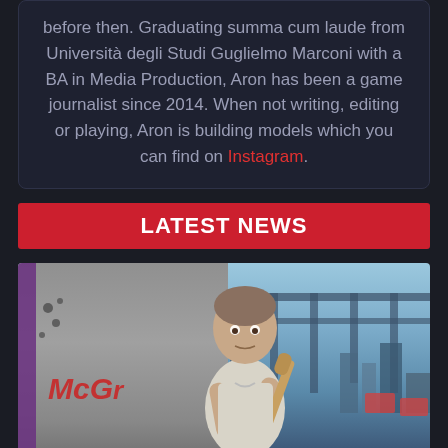before then. Graduating summa cum laude from Università degli Studi Guglielmo Marconi with a BA in Media Production, Aron has been a game journalist since 2014. When not writing, editing or playing, Aron is building models which you can find on Instagram.
LATEST NEWS
[Figure (photo): GTA V character (Trevor) holding a baseball bat, standing in front of a truck with bullet holes, with a bridge and city skyline in the background]
[Figure (photo): Partially visible second game image at the bottom of the page, appears to show interior scene]